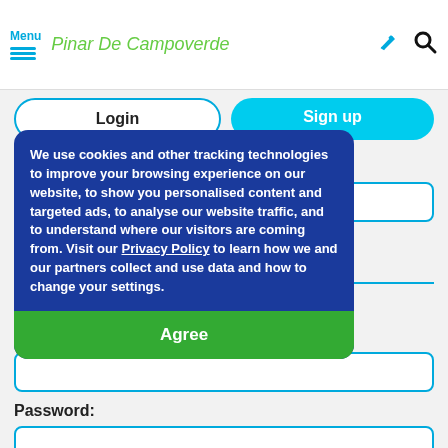Menu | Pinar De Campoverde
Login | Sign up
Your email address:
[Figure (screenshot): Cookie consent overlay with text: We use cookies and other tracking technologies to improve your browsing experience on our website, to show you personalised content and targeted ads, to analyse our website traffic, and to understand where our visitors are coming from. Visit our Privacy Policy to learn how we and our partners collect and use data and how to change your settings. With an Agree button.]
Username:
Password: